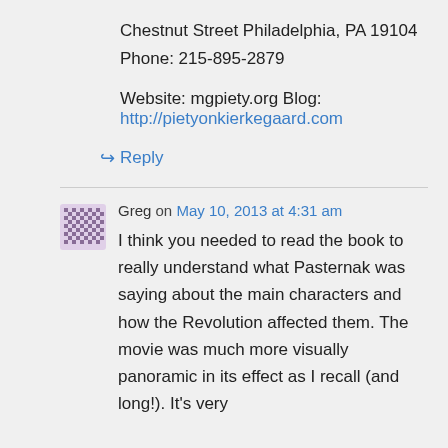Chestnut Street Philadelphia, PA 19104
Phone: 215-895-2879
Website: mgpiety.org Blog:
http://pietyonkierkegaard.com
↪ Reply
Greg on May 10, 2013 at 4:31 am
I think you needed to read the book to really understand what Pasternak was saying about the main characters and how the Revolution affected them. The movie was much more visually panoramic in its effect as I recall (and long!). It's very...